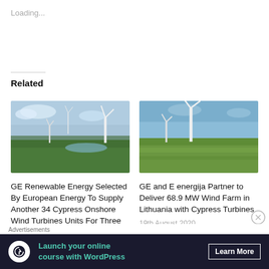Loading...
Related
[Figure (photo): Aerial view of wind turbines over green forest landscape]
GE Renewable Energy Selected By European Energy To Supply Another 34 Cypress Onshore Wind Turbines Units For Three
[Figure (photo): Aerial view of wind turbines in green farmland]
GE and E energija Partner to Deliver 68.9 MW Wind Farm in Lithuania with Cypress Turbines
19th August 2020
Advertisements
Launch your online course with WordPress
Learn More